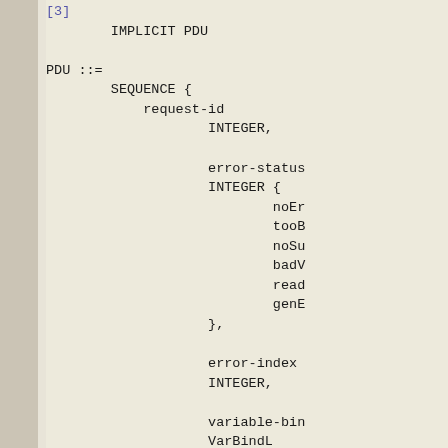[3]
        IMPLICIT PDU

PDU ::=
        SEQUENCE {
            request-id
                    INTEGER,

                    error-status
                    INTEGER {
                            noEr
                            tooB
                            noSu
                            badV
                            read
                            genE
                    },

                    error-index
                    INTEGER,

                    variable-bin
                    VarBindL
        }